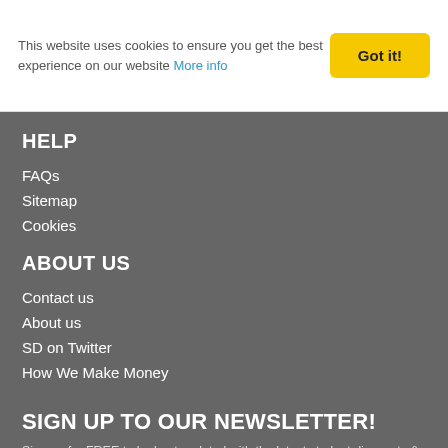This website uses cookies to ensure you get the best experience on our website More info
Got it!
HELP
FAQs
Sitemap
Cookies
ABOUT US
Contact us
About us
SD on Twitter
How We Make Money
SIGN UP TO OUR NEWSLETTER!
Sign up for FREE to be kept updated with the latest student discounts & offers
Enter Your Email